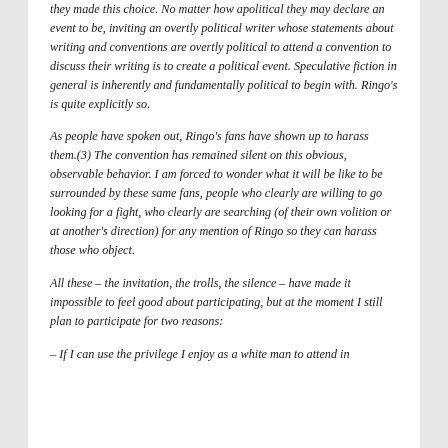they made this choice. No matter how apolitical they may declare an event to be, inviting an overtly political writer whose statements about writing and conventions are overtly political to attend a convention to discuss their writing is to create a political event. Speculative fiction in general is inherently and fundamentally political to begin with. Ringo's is quite explicitly so.
As people have spoken out, Ringo's fans have shown up to harass them.(3) The convention has remained silent on this obvious, observable behavior. I am forced to wonder what it will be like to be surrounded by these same fans, people who clearly are willing to go looking for a fight, who clearly are searching (of their own volition or at another's direction) for any mention of Ringo so they can harass those who object.
All these – the invitation, the trolls, the silence – have made it impossible to feel good about participating, but at the moment I still plan to participate for two reasons:
– If I can use the privilege I enjoy as a white man to attend in